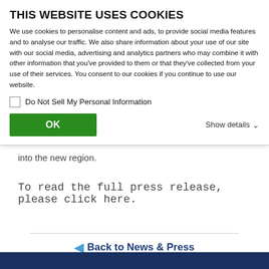THIS WEBSITE USES COOKIES
We use cookies to personalise content and ads, to provide social media features and to analyse our traffic. We also share information about your use of our site with our social media, advertising and analytics partners who may combine it with other information that you've provided to them or that they've collected from your use of their services. You consent to our cookies if you continue to use our website.
Do Not Sell My Personal Information
OK
Show details
into the new region.
To read the full press release, please click here.
Back to News & Press